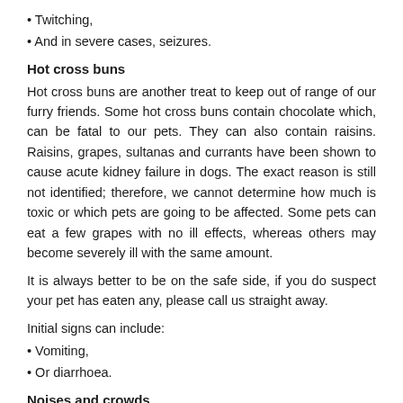Twitching,
And in severe cases, seizures.
Hot cross buns
Hot cross buns are another treat to keep out of range of our furry friends. Some hot cross buns contain chocolate which, can be fatal to our pets. They can also contain raisins. Raisins, grapes, sultanas and currants have been shown to cause acute kidney failure in dogs. The exact reason is still not identified; therefore, we cannot determine how much is toxic or which pets are going to be affected. Some pets can eat a few grapes with no ill effects, whereas others may become severely ill with the same amount.
It is always better to be on the safe side, if you do suspect your pet has eaten any, please call us straight away.
Initial signs can include:
Vomiting,
Or diarrhoea.
Noises and crowds
New visitors, noises and smells can sometimes cause anxiety for your pet. To help minimise your pet's stress;
Create a calm, quiet spot for your pet away from the noise.